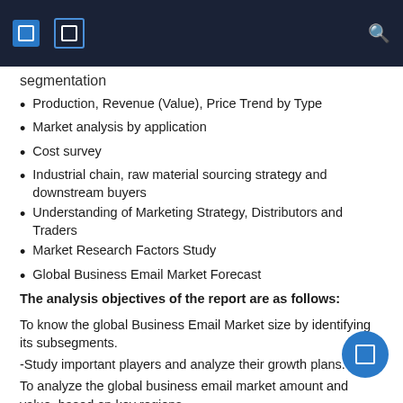[navigation header bar with icons]
segmentation
Production, Revenue (Value), Price Trend by Type
Market analysis by application
Cost survey
Industrial chain, raw material sourcing strategy and downstream buyers
Understanding of Marketing Strategy, Distributors and Traders
Market Research Factors Study
Global Business Email Market Forecast
The analysis objectives of the report are as follows:
To know the global Business Email Market size by identifying its subsegments.
-Study important players and analyze their growth plans.
To analyze the global business email market amount and value, based on key regions